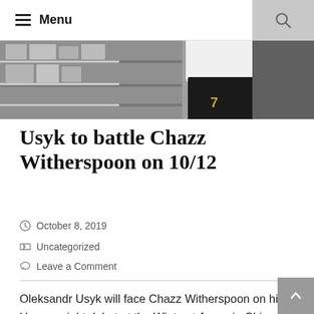Menu
[Figure (photo): A boxer in white shirt and dark shorts in a boxing ring, warehouse-like background]
Usyk to battle Chazz Witherspoon on 10/12
October 8, 2019
Uncategorized
Leave a Comment
Oleksandr Usyk will face Chazz Witherspoon on his Heavyweight debut at the Wintrust Arena in Chicago on Saturday night, live on DAZN in the US and on Sky Sports in the UK.